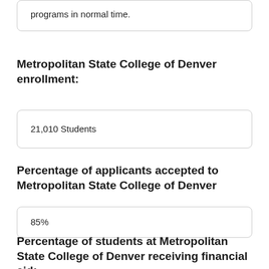programs in normal time.
Metropolitan State College of Denver enrollment:
21,010 Students
Percentage of applicants accepted to Metropolitan State College of Denver
85%
Percentage of students at Metropolitan State College of Denver receiving financial aid: